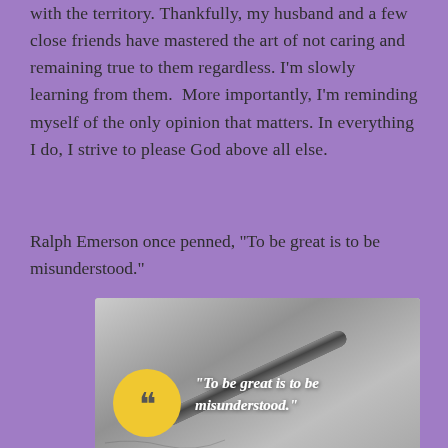with the territory. Thankfully, my husband and a few close friends have mastered the art of not caring and remaining true to them regardless. I'm slowly learning from them.  More importantly, I'm reminding myself of the only opinion that matters. In everything I do, I strive to please God above all else.
Ralph Emerson once penned, “To be great is to be misunderstood.”
[Figure (illustration): Grayscale photo of a pen resting on handwritten paper, overlaid with a yellow speech-bubble emoji icon and white italic cursive text reading: "To be great is to be misunderstood." with attribution to Ralph Emerson in the bottom right.]